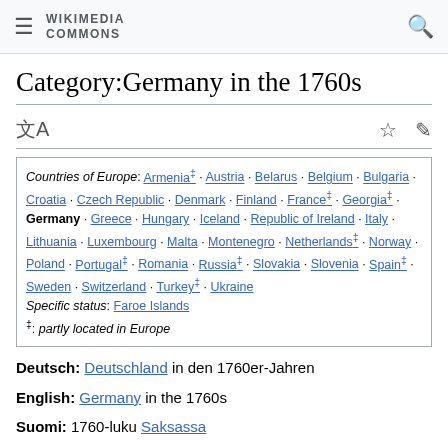WIKIMEDIA COMMONS
Category:Germany in the 1760s
Countries of Europe: Armenia‡ · Austria · Belarus · Belgium · Bulgaria · Croatia · Czech Republic · Denmark · Finland · France‡ · Georgia‡ · Germany · Greece · Hungary · Iceland · Republic of Ireland · Italy · Lithuania · Luxembourg · Malta · Montenegro · Netherlands‡ · Norway · Poland · Portugal‡ · Romania · Russia‡ · Slovakia · Slovenia · Spain‡ · Sweden · Switzerland · Turkey‡ · Ukraine
Specific status: Faroe Islands
‡: partly located in Europe
Deutsch: Deutschland in den 1760er-Jahren
English: Germany in the 1760s
Suomi: 1760-luku Saksassa
Svenska: Tyskland under 1760-talet